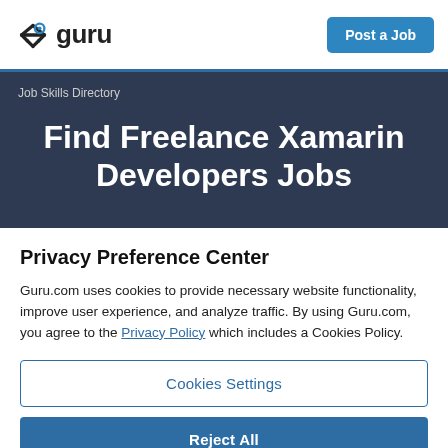[Figure (logo): Guru.com logo with stylized figure icon and 'guru' text]
Post a Job
Job Skills Directory
Find Freelance Xamarin Developers Jobs
Privacy Preference Center
Guru.com uses cookies to provide necessary website functionality, improve user experience, and analyze traffic. By using Guru.com, you agree to the Privacy Policy which includes a Cookies Policy.
Cookies Settings
Reject All